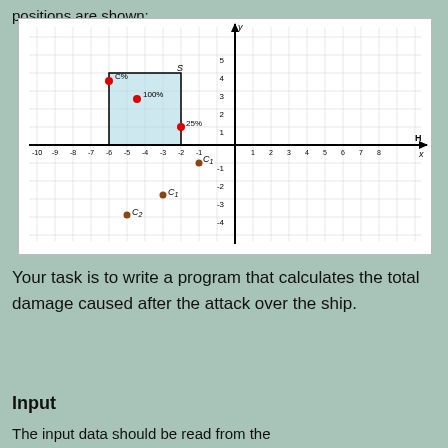positions are shown:
[Figure (other): Coordinate plane diagram showing ship positions. A blue shaded rectangle is drawn in the upper-left quadrant. Several red and brown dots are labeled: C% (upper left, outside rectangle), S (top, on rectangle boundary), 100% (inside rectangle), 25% (at lower-right of rectangle), C1 (just below x-axis center), C1 (lower left area), C2 (further lower left). A dashed horizontal line labeled H crosses the chart. Axes are labeled x and y with tick marks from roughly -10 to 8 on x-axis.]
Your task is to write a program that calculates the total damage caused after the attack over the ship.
Input
The input data should be read from the